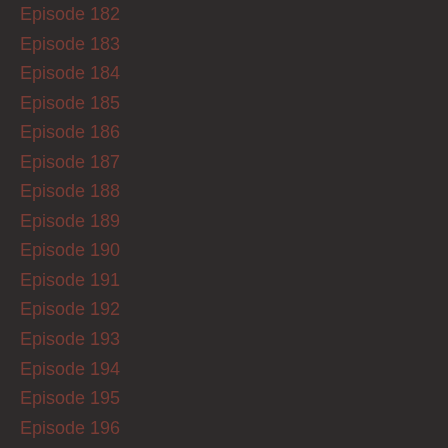Episode 182
Episode 183
Episode 184
Episode 185
Episode 186
Episode 187
Episode 188
Episode 189
Episode 190
Episode 191
Episode 192
Episode 193
Episode 194
Episode 195
Episode 196
Episode 198
Episode 199
Episode 200
Episode 202
Episode 203
Episode 205